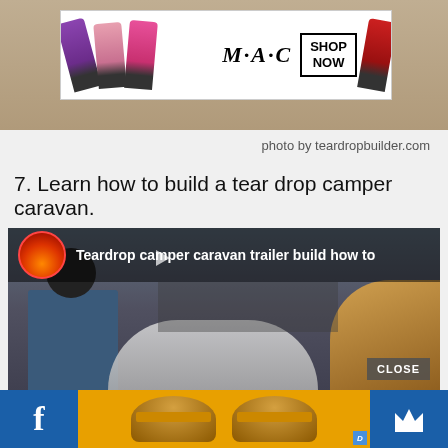[Figure (photo): MAC cosmetics advertisement banner showing colorful lipsticks (purple, pink, hot pink, red) with MAC logo and SHOP NOW box, on a sandy/textured background]
photo by teardropbuilder.com
7. Learn how to build a tear drop camper caravan.
[Figure (screenshot): YouTube video thumbnail showing 'Teardrop camper caravan trailer build how to' with channel icon, crowd scene, trailer, and a CLOSE button overlay. Bottom shows Facebook icon, McDonald's food ad, and crown icon.]